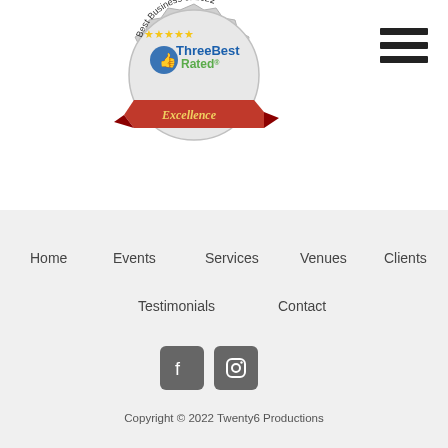[Figure (logo): ThreeBest Rated Best Business of 2022 Excellence badge/seal with gold stars, blue and green logo, red ribbon with 'Excellence' text]
[Figure (other): Hamburger menu icon (three horizontal black lines)]
Home
Events
Services
Venues
Clients
Testimonials
Contact
[Figure (other): Facebook and Instagram social media icon buttons (dark grey rounded squares)]
Copyright © 2022 Twenty6 Productions